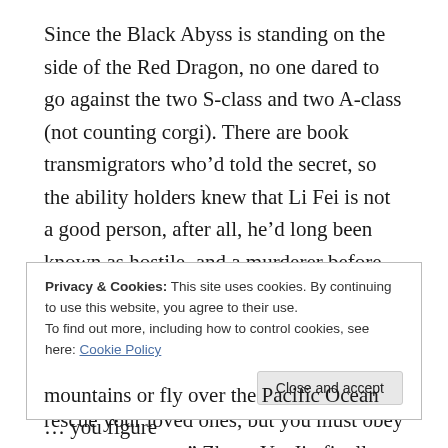Since the Black Abyss is standing on the side of the Red Dragon, no one dared to go against the two S-class and two A-class (not counting corgi). There are book transmigrators who'd told the secret, so the ability holders knew that Li Fei is not a good person, after all, he'd long been known as hostile, and a murderer before the Devourer even said hello.
“If your home is in Haicheng, we’ll send you in with a team downtown. You can rescue your loved ones, but you must obey our arrangement.” Zhang YaoJin finally
Privacy & Cookies: This site uses cookies. By continuing to use this website, you agree to their use.
To find out more, including how to control cookies, see here: Cookie Policy
mountains or fly over the Pacific Ocean ... you figure